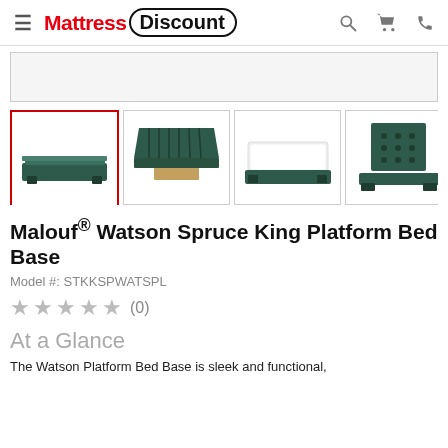[Figure (logo): Mattress Discount logo with red 'Mattress' text and 'Discount' in oval border]
[Figure (screenshot): Website header with hamburger menu, Mattress Discount logo, search icon, cart icon, and phone icon]
[Figure (photo): Four thumbnail images of the Watson Platform Bed Base in spruce/dark green. First image selected (red border) showing the platform base from side angle. Second showing drawer open. Third showing top view with white mattress. Fourth showing headboard angle.]
Malouf® Watson Spruce King Platform Bed Base
Model #: STKKSPWATSPL
★★★★★ (0)
At a Glance
The Watson Platform Bed Base is sleek and functional,